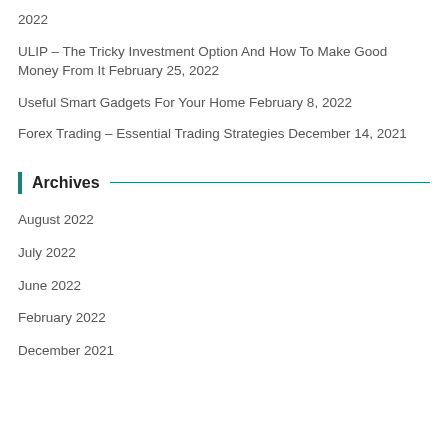2022
ULIP – The Tricky Investment Option And How To Make Good Money From It February 25, 2022
Useful Smart Gadgets For Your Home February 8, 2022
Forex Trading – Essential Trading Strategies December 14, 2021
Archives
August 2022
July 2022
June 2022
February 2022
December 2021